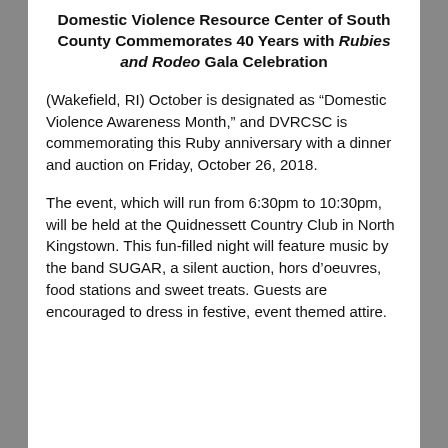Domestic Violence Resource Center of South County Commemorates 40 Years with Rubies and Rodeo Gala Celebration
(Wakefield, RI) October is designated as “Domestic Violence Awareness Month,” and DVRCSC is commemorating this Ruby anniversary with a dinner and auction on Friday, October 26, 2018.
The event, which will run from 6:30pm to 10:30pm, will be held at the Quidnessett Country Club in North Kingstown. This fun-filled night will feature music by the band SUGAR, a silent auction, hors d’oeuvres, food stations and sweet treats. Guests are encouraged to dress in festive, event themed attire.